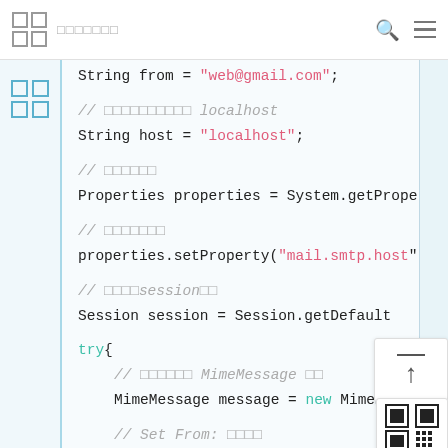□□□ □□□□□□□
[Figure (screenshot): Java code snippet showing email sending setup with String from, String host, Properties, Session, try block with MimeMessage creation]
String from = "web@gmail.com";
// □□□□□□□□□□ localhost
String host = "localhost";
// □□□□□□
Properties properties = System.getProper
// □□□□□□□
properties.setProperty("mail.smtp.host",
// □□□□session□□
Session session = Session.getDefault
try{
// □□□□□□ MimeMessage □□
MimeMessage message = new MimeMessage
// Set From: □□□□